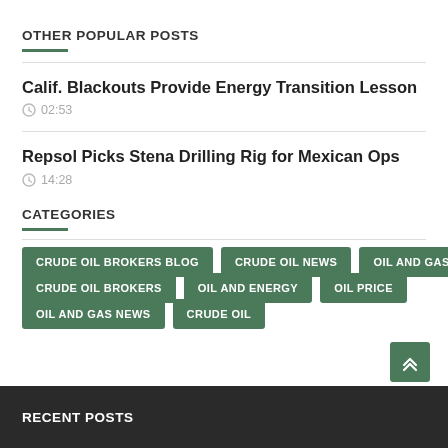OTHER POPULAR POSTS
Calif. Blackouts Provide Energy Transition Lesson
02:53
Repsol Picks Stena Drilling Rig for Mexican Ops
14:28
CATEGORIES
CRUDE OIL BROKERS BLOG
CRUDE OIL NEWS
OIL AND GAS
CRUDE OIL BROKERS
OIL AND ENERGY
OIL PRICE
OIL AND GAS NEWS
CRUDE OIL
RECENT POSTS